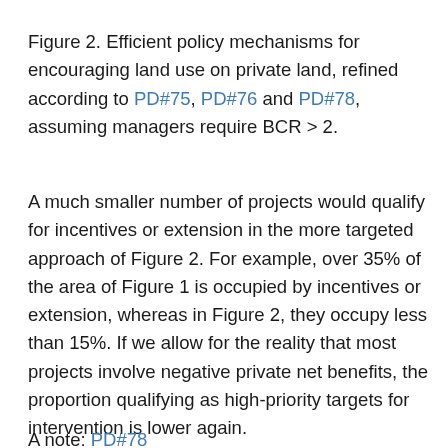Figure 2. Efficient policy mechanisms for encouraging land use on private land, refined according to PD#75, PD#76 and PD#78, assuming managers require BCR > 2.
A much smaller number of projects would qualify for incentives or extension in the more targeted approach of Figure 2. For example, over 35% of the area of Figure 1 is occupied by incentives or extension, whereas in Figure 2, they occupy less than 15%. If we allow for the reality that most projects involve negative private net benefits, the proportion qualifying as high-priority targets for intervention is lower again.
A note: PD#78 ...